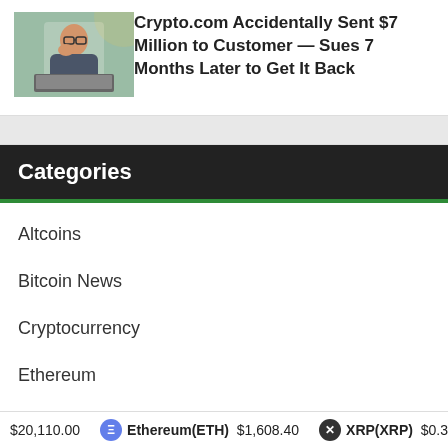[Figure (photo): Woman with glasses looking surprised in front of a laptop]
Crypto.com Accidentally Sent $7 Million to Customer — Sues 7 Months Later to Get It Back
Categories
Altcoins
Bitcoin News
Cryptocurrency
Ethereum
Litecoin
Market Analysis
$20,110.00  Ethereum(ETH) $1,608.40  XRP(XRP) $0.3288